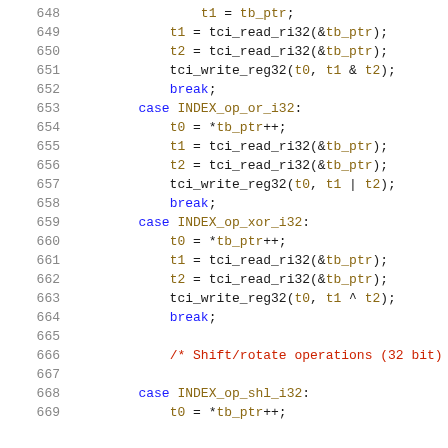Source code listing, lines 648-669, showing C code for bitwise and shift/rotate operations on 32-bit integers using TCI interpreter functions.